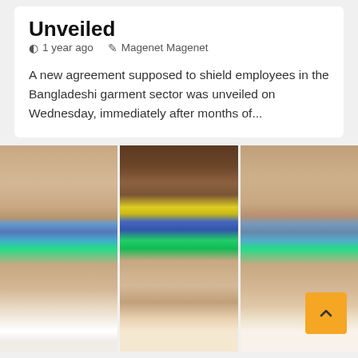Unveiled
1 year ago   Magenet Magenet
A new agreement supposed to shield employees in the Bangladeshi garment sector was unveiled on Wednesday, immediately after months of...
[Figure (photo): Three side-by-side close-up panels of a woman's face showing colorful eye makeup with blue, green, and yellow glitter eyeshadow, smiling with white teeth visible.]